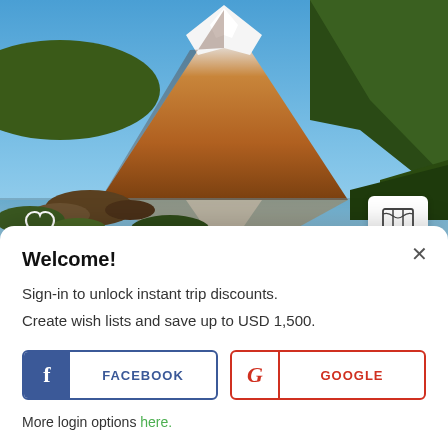[Figure (photo): Scenic mountain reflected in a calm lake, snow-capped volcano with orange/brown slopes and blue sky, Cotopaxi Ecuador style landscape]
Ecuador: From the Andes to the Pacific Ocean
Welcome!
Sign-in to unlock instant trip discounts.
Create wish lists and save up to USD 1,500.
FACEBOOK
GOOGLE
More login options here.